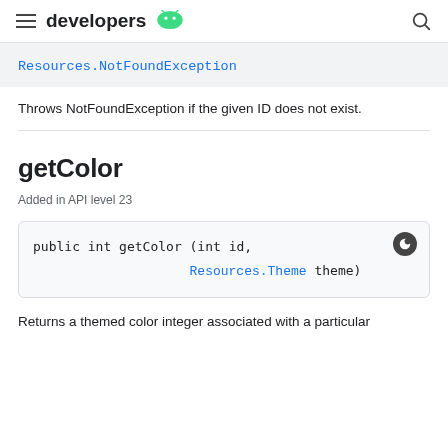developers
Resources.NotFoundException
Throws NotFoundException if the given ID does not exist.
getColor
Added in API level 23
public int getColor (int id,
                    Resources.Theme theme)
Returns a themed color integer associated with a particular